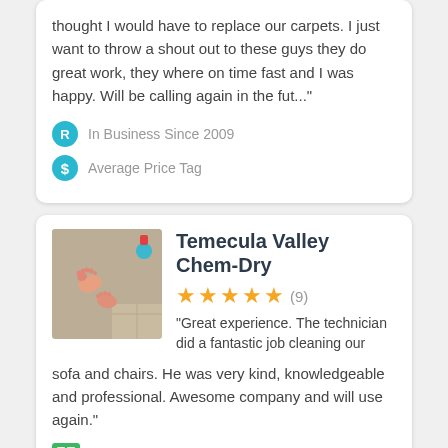thought I would have to replace our carpets. I just want to throw a shout out to these guys they do great work, they where on time fast and I was happy. Will be calling again in the fut..."
In Business Since 2009
Average Price Tag
Temecula Valley Chem-Dry
[Figure (photo): Photo of baby feet on carpet near tile floor]
★★★★★ (9)
“Great experience. The technician did a fantastic job cleaning our sofa and chairs. He was very kind, knowledgeable and professional. Awesome company and will use again.”
Coupons & Offers
Free Initial Consultation